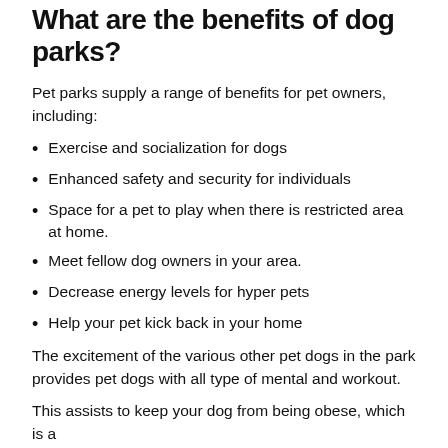What are the benefits of dog parks?
Pet parks supply a range of benefits for pet owners, including:
Exercise and socialization for dogs
Enhanced safety and security for individuals
Space for a pet to play when there is restricted area at home.
Meet fellow dog owners in your area.
Decrease energy levels for hyper pets
Help your pet kick back in your home
The excitement of the various other pet dogs in the park provides pet dogs with all type of mental and workout.
This assists to keep your dog from being obese, which is a